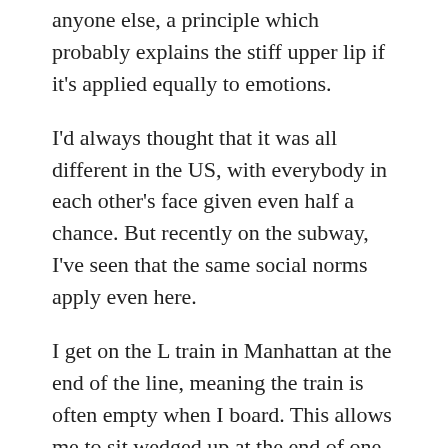anyone else, a principle which probably explains the stiff upper lip if it's applied equally to emotions.
I'd always thought that it was all different in the US, with everybody in each other's face given even half a chance. But recently on the subway, I've seen that the same social norms apply even here.
I get on the L train in Manhattan at the end of the line, meaning the train is often empty when I board. This allows me to sit wedged up at the end of one of the rows of sets that run the length of my section of the carriage. Largely without fail, the next person to enter my section will sit on the opposite side of the carriage, and at the opposite end of the row of seats, so that we are diagonally separated by the greatest possible distance. Passenger 3 will sit on the same side as me but at the other end. And Passenger 4 will sit immediately opposite me. All four of us are perfectly spaced. If this had happened just once, I'd put it down to coincidence.